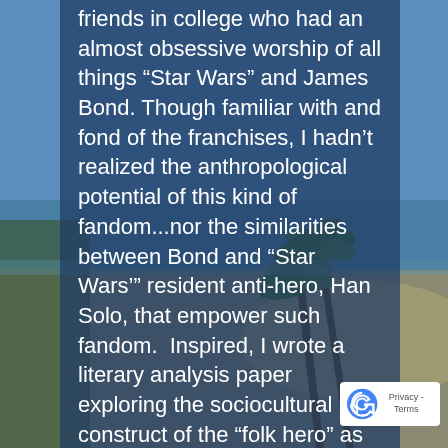[Figure (photo): Coastal beach scene with palm trees, sandy shore, and blue sky, partially visible behind a semi-transparent dark blue overlay panel containing text.]
friends in college who had an almost obsessive worship of all things “Star Wars” and James Bond. Though familiar with and fond of the franchises, I hadn’t realized the anthropological potential of this kind of fandom...nor the similarities between Bond and “Star Wars’” resident anti-hero, Han Solo, that empower such fandom.  Inspired, I wrote a literary analysis paper exploring the sociocultural construct of the “folk hero” as expressed in two distinct genres, and analyzed why these figures were of such importance to Americans, especially young male Americans. The possibilities this research go far beyond the reach of standard term paper, but the possibilities still